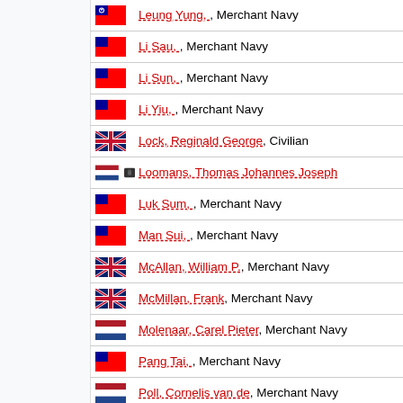Leung Yung, , Merchant Navy
Li Sau, , Merchant Navy
Li Sun, , Merchant Navy
Li Yiu, , Merchant Navy
Lock, Reginald George, Civilian
Loomans, Thomas Johannes Joseph
Luk Sum, , Merchant Navy
Man Sui, , Merchant Navy
McAllan, William P., Merchant Navy
McMillan, Frank, Merchant Navy
Molenaar, Carel Pieter, Merchant Navy
Pang Tai, , Merchant Navy
Poll, Cornelis van de, Merchant Navy
Rasmussen, Konrad Helland, Merchant Navy
Reeper, Joseph Johannes Michels de, Navy
Riemsdijk, Johannes Wilhelmus van